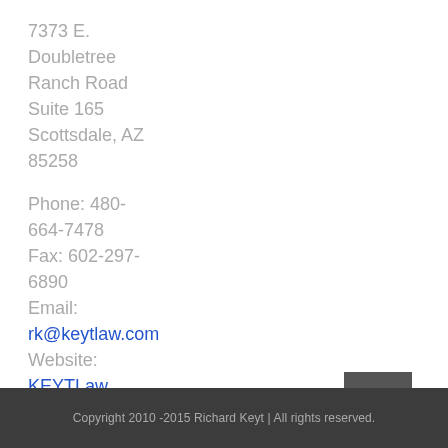7373 E. Doubletree Ranch Road Suite 165 Scottsdale, AZ 85258
Phone: 480-664-7478
Fax: 602-297-6890
Email: rk@keytlaw.com
Website: KEYTLaw
Copyright 2010-2015 Richard Keyt | All rights reserved.